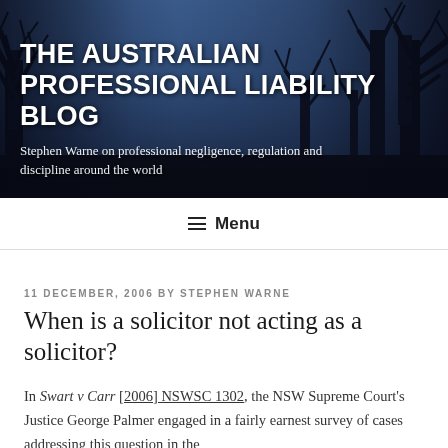[Figure (photo): Dark blue-toned header banner with bare winter tree silhouettes against a twilight sky, serving as background for the blog title]
THE AUSTRALIAN PROFESSIONAL LIABILITY BLOG
Stephen Warne on professional negligence, regulation and discipline around the world
Menu
11 DECEMBER, 2006 BY STEPHEN WARNE
When is a solicitor not acting as a solicitor?
In Swart v Carr [2006] NSWSC 1302, the NSW Supreme Court's Justice George Palmer engaged in a fairly earnest survey of cases addressing this question in the context of discipline about the solicitor